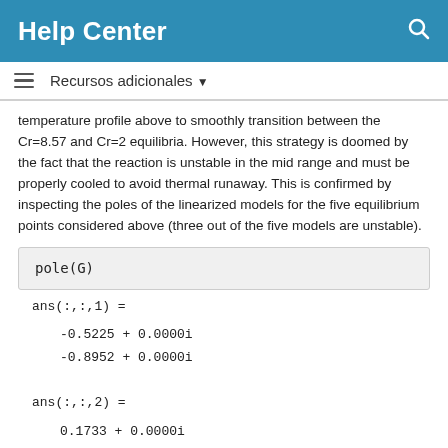Help Center
Recursos adicionales
temperature profile above to smoothly transition between the Cr=8.57 and Cr=2 equilibria. However, this strategy is doomed by the fact that the reaction is unstable in the mid range and must be properly cooled to avoid thermal runaway. This is confirmed by inspecting the poles of the linearized models for the five equilibrium points considered above (three out of the five models are unstable).
ans(:,:,1) =

   -0.5225 + 0.0000i
   -0.8952 + 0.0000i


ans(:,:,2) =

    0.1733 + 0.0000i